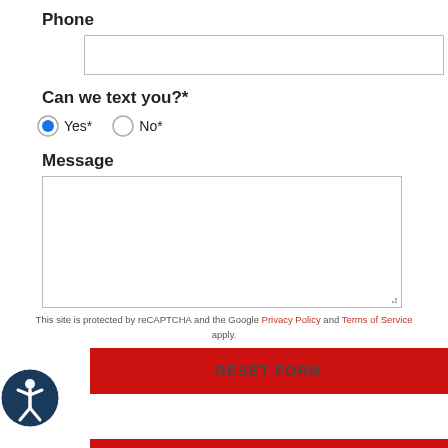Phone
[Figure (other): Phone text input field, empty]
Can we text you?*
Yes* (radio button selected)  No* (radio button unselected)
Message
[Figure (other): Message textarea input, empty, resizable]
This site is protected by reCAPTCHA and the Google Privacy Policy and Terms of Service apply.
RESET FORM